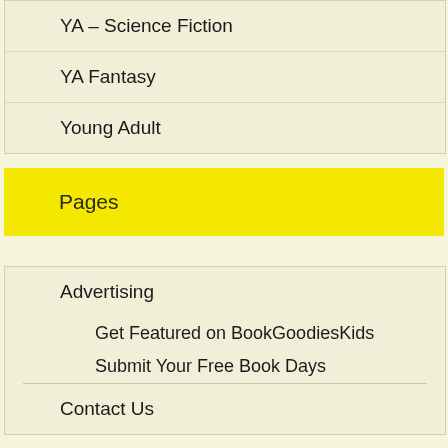YA – Science Fiction
YA Fantasy
Young Adult
Pages
Advertising
Get Featured on BookGoodiesKids
Submit Your Free Book Days
Contact Us